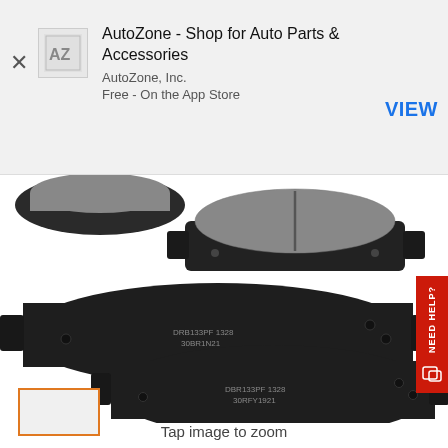[Figure (screenshot): AutoZone app banner with AZ logo, close button (X), app title 'AutoZone - Shop for Auto Parts & Accessories', publisher 'AutoZone, Inc.', label 'Free - On the App Store', and a blue 'VIEW' button on the right.]
[Figure (photo): Product photo showing three sets of brake pads on a white background. Top pair shows grey friction material surface. Middle and bottom show the dark metal backing plates with part numbers printed on them (DRB133PF 1328, 30BR1N21 visible on each).]
Tap image to zoom